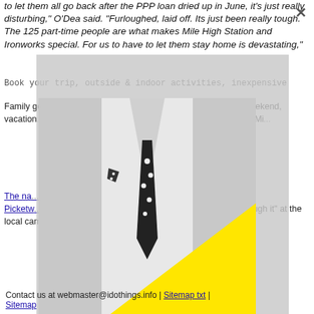to let them all go back after the PPP loan dried up in June, it's just really disturbing," O'Dea said. "Furloughed, laid off. Its just been really tough. The 125 part-time people are what makes Mile High Station and Ironworks special. For us to have to let them stay home is devastating,"
Book your trip, outside & indoor activities, inexpensive
Family getaways, birthday, anniversary for couples, three day weekend, vacation... burgers... near me, getaways near me: Ma... ake Mills, Mi...
The na... ntrast to the b... the area a... Picketw... s on foot or bicycle, or even on horseback. You can "rough it" at the local campground or head back to a hotel to put your feet up.
[Figure (photo): Black and white photo of a man in a white shirt and black polka-dot tie with a pocket square, overlaid with a yellow triangle shape in the lower right portion]
Contact us at webmaster@idothings.info | Sitemap txt | Sitemap